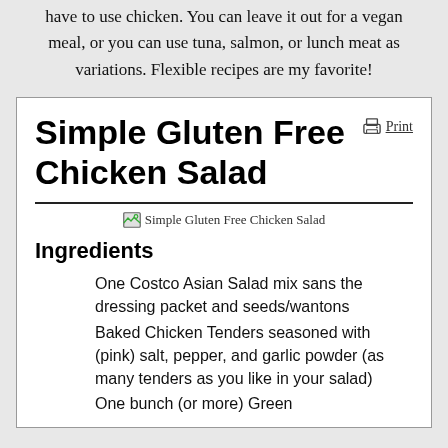have to use chicken. You can leave it out for a vegan meal, or you can use tuna, salmon, or lunch meat as variations. Flexible recipes are my favorite!
Simple Gluten Free Chicken Salad
[Figure (photo): Broken image placeholder for Simple Gluten Free Chicken Salad]
Ingredients
One Costco Asian Salad mix sans the dressing packet and seeds/wantons
Baked Chicken Tenders seasoned with (pink) salt, pepper, and garlic powder (as many tenders as you like in your salad)
One bunch (or more) Green